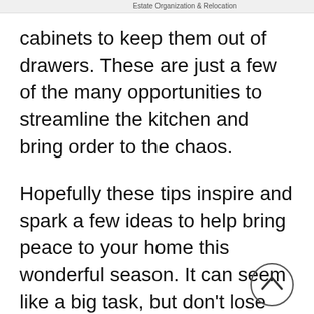Estate Organization & Relocation
cabinets to keep them out of drawers. These are just a few of the many opportunities to streamline the kitchen and bring order to the chaos.
Hopefully these tips inspire and spark a few ideas to help bring peace to your home this wonderful season. It can seem like a big task, but don't lose hope! Find the method that works best for you. For some people taking on a room at a time can create a sense of progress as they get bigger sections of work done at one time. Whereas others prefer to work on smaller projects. No matter your